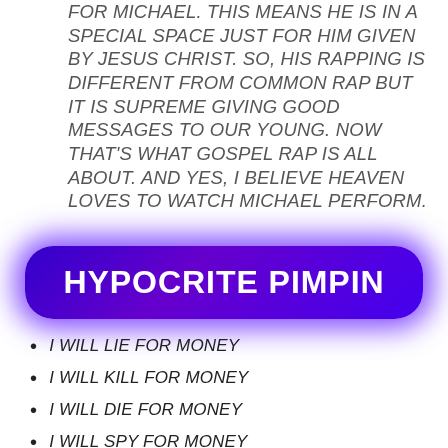FOR MICHAEL. THIS MEANS HE IS IN A SPECIAL SPACE JUST FOR HIM GIVEN BY JESUS CHRIST. SO, HIS RAPPING IS DIFFERENT FROM COMMON RAP BUT IT IS SUPREME GIVING GOOD MESSAGES TO OUR YOUNG. NOW THAT'S WHAT GOSPEL RAP IS ALL ABOUT. AND YES, I BELIEVE HEAVEN LOVES TO WATCH MICHAEL PERFORM.
HYPOCRITE PIMPIN
I WILL LIE FOR MONEY
I WILL KILL FOR MONEY
I WILL DIE FOR MONEY
I WILL SPY FOR MONEY
EVEN SELL MY SOUL TO THE DEVIL!!